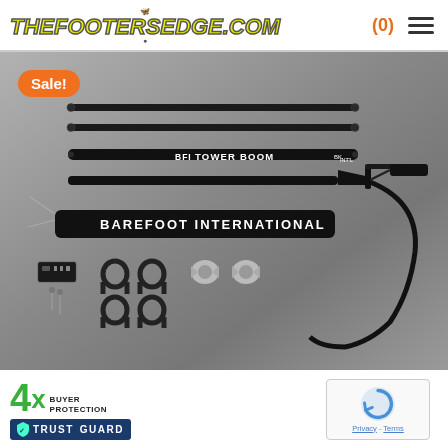thefootersedge.com (0) menu
[Figure (photo): Product photo of Barefoot International Tower Boom kit with black aluminum poles, mounting hardware, clamps, wing nuts, cable assembly and neoprene sleeve on grey gradient background. Orange Sale! badge in top-left corner.]
[Figure (logo): 4x Buyer Protection Trust Guard badge in green and dark blue, with shield icon]
[Figure (logo): reCAPTCHA logo with Privacy and Terms links]